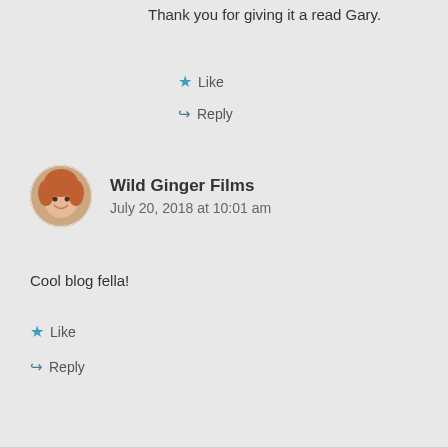Thank you for giving it a read Gary.
★ Like
↪ Reply
Wild Ginger Films
July 20, 2018 at 10:01 am
Cool blog fella!
★ Like
↪ Reply